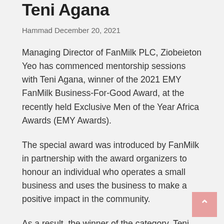Teni Agana
Hammad December 20, 2021
Managing Director of FanMilk PLC, Ziobeieton Yeo has commenced mentorship sessions with Teni Agana, winner of the 2021 EMY FanMilk Business-For-Good Award, at the recently held Exclusive Men of the Year Africa Awards (EMY Awards).
The special award was introduced by FanMilk in partnership with the award organizers to honour an individual who operates a small business and uses the business to make a positive impact in the community.
As a result, the winner of the category, Teni Agana, a visionary social entrepreneur, project manager, youth advocate, a teacher and